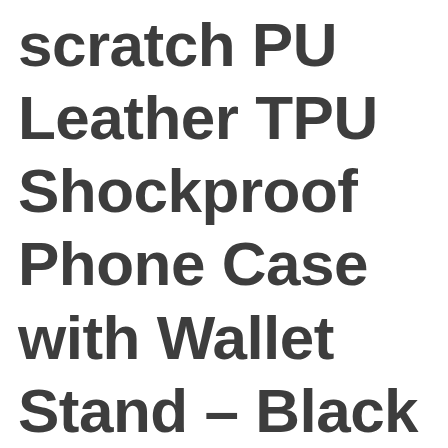scratch PU Leather TPU Shockproof Phone Case with Wallet Stand – Black